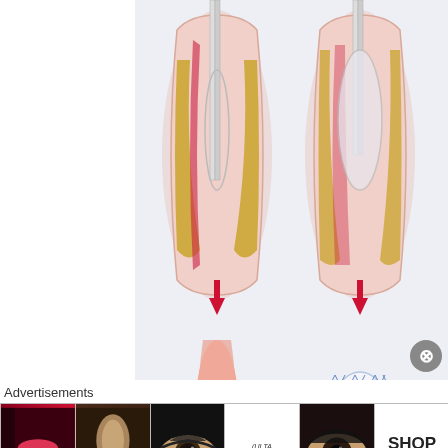[Figure (schematic): Medical illustration showing a 4-panel diagram of a coronary stent procedure. Top-left: catheter with balloon in a blocked artery (plaque visible). Top-right: balloon being inflated in the artery. Bottom-left: artery after balloon dilation, plaque compressed. Bottom-right: stent (mesh tube) deployed and expanded in the artery. Red arrows between top and bottom rows indicate the procedural steps.]
Advertisements
[Figure (photo): Advertisement banner strip showing beauty/cosmetics ads: lips with red lipstick, makeup brush, eye with dramatic eye makeup, Ulta Beauty logo, smoky eye close-up, and SHOP NOW button.]